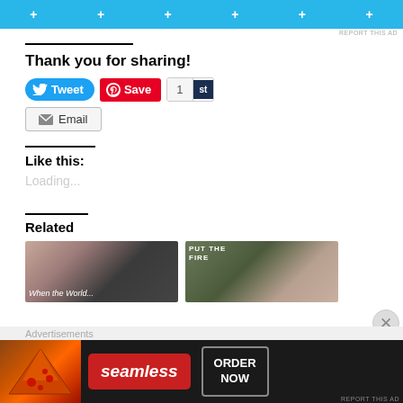[Figure (screenshot): Cyan/blue ad banner with plus signs]
REPORT THIS AD
Thank you for sharing!
[Figure (screenshot): Social sharing buttons: Tweet, Save (Pinterest), share count 1 st, Email]
Like this:
Loading...
Related
[Figure (photo): Two related article thumbnail images side by side. Left: face with text 'When the World'. Right: woman with text 'PUT THE FIRE'.]
Advertisements
[Figure (screenshot): Seamless food ordering advertisement banner with pizza image, seamless logo, and ORDER NOW button]